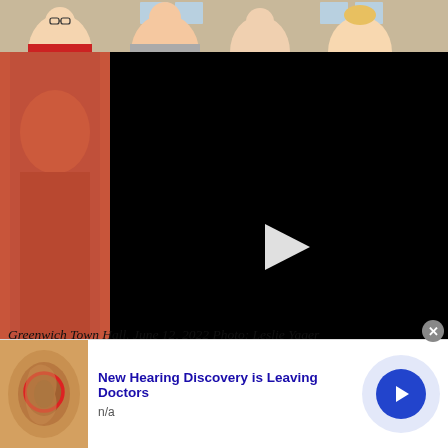[Figure (photo): Group photo of young people in front of a building, partially visible at top of page]
[Figure (screenshot): Black video player overlay with white play button triangle in center]
Greenwich Town Hall. June 12, 2022 Photo: Leslie Yager
Selectwoman McGuigan said equality and inclusivity are not to be defended just one day of the year, and
[Figure (infographic): Advertisement banner: New Hearing Discovery is Leaving Doctors, with ear anatomy image, blue arrow button, and close button]